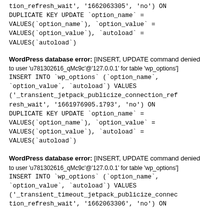tion_refresh_wait', '1662063305', 'no') ON DUPLICATE KEY UPDATE `option_name` = VALUES(`option_name`), `option_value` = VALUES(`option_value`), `autoload` = VALUES(`autoload`)
WordPress database error: [INSERT, UPDATE command denied to user 'u781302616_qMc9c'@'127.0.0.1' for table 'wp_options']
INSERT INTO `wp_options` (`option_name`, `option_value`, `autoload`) VALUES ('_transient_jetpack_publicize_connection_refresh_wait', '1661976905.1793', 'no') ON DUPLICATE KEY UPDATE `option_name` = VALUES(`option_name`), `option_value` = VALUES(`option_value`), `autoload` = VALUES(`autoload`)
WordPress database error: [INSERT, UPDATE command denied to user 'u781302616_qMc9c'@'127.0.0.1' for table 'wp_options']
INSERT INTO `wp_options` (`option_name`, `option_value`, `autoload`) VALUES ('_transient_timeout_jetpack_publicize_connection_refresh_wait', '1662063306', 'no') ON